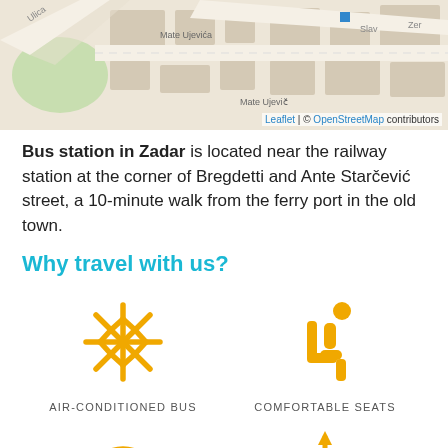[Figure (map): Street map of Zadar showing bus station area near railway station, with street names Ulica, Mate Ujevića, Slav-, Zer- visible. Map attribution: Leaflet | © OpenStreetMap contributors]
Bus station in Zadar is located near the railway station at the corner of Bregdetti and Ante Starčević street, a 10-minute walk from the ferry port in the old town.
Why travel with us?
[Figure (infographic): Snowflake icon representing air-conditioned bus]
AIR-CONDITIONED BUS
[Figure (infographic): Person sitting in seat icon representing comfortable seats]
COMFORTABLE SEATS
[Figure (infographic): WiFi signal icon]
[Figure (infographic): USB connector icon]